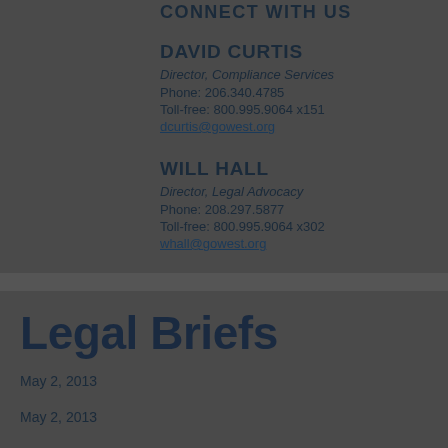CONNECT WITH US
DAVID CURTIS
Director, Compliance Services
Phone: 206.340.4785
Toll-free: 800.995.9064 x151
dcurtis@gowest.org
WILL HALL
Director, Legal Advocacy
Phone: 208.297.5877
Toll-free: 800.995.9064 x302
whall@gowest.org
Legal Briefs
May 2, 2013
May 2, 2013